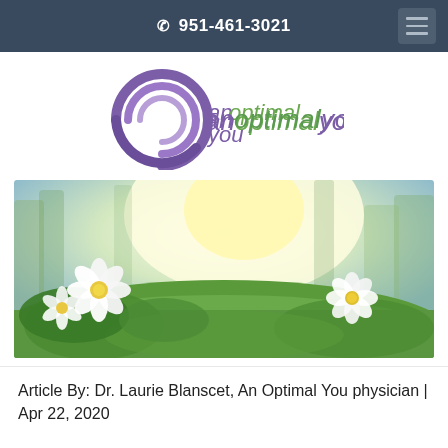📞 951-461-3021
[Figure (logo): An Optimal You logo — purple spiral/circular icon on the left, text 'an optimal you' with 'an' and 'you' in purple and 'optimal' in green]
[Figure (photo): Outdoor nature photo featuring white spring flowers (wood anemones) in green foliage with bright sunlight filtering through trees in the background]
Article By: Dr. Laurie Blanscet, An Optimal You physician | Apr 22, 2020